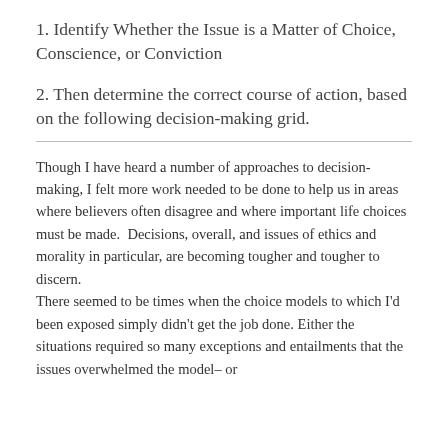1. Identify Whether the Issue is a Matter of Choice, Conscience, or Conviction
2. Then determine the correct course of action, based on the following decision-making grid.
Though I have heard a number of approaches to decision-making, I felt more work needed to be done to help us in areas where believers often disagree and where important life choices must be made.  Decisions, overall, and issues of ethics and morality in particular, are becoming tougher and tougher to discern. There seemed to be times when the choice models to which I'd been exposed simply didn't get the job done. Either the situations required so many exceptions and entailments that the issues overwhelmed the model– or